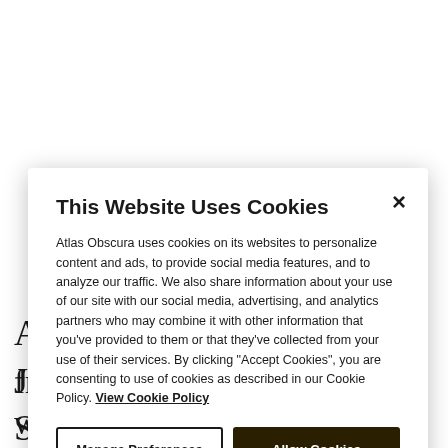A
J
S
e
p
u
e
frenzied copulation, after which they lay eggs and die.
This Website Uses Cookies
Atlas Obscura uses cookies on its websites to personalize content and ads, to provide social media features, and to analyze our traffic. We also share information about your use of our site with our social media, advertising, and analytics partners who may combine it with other information that you've provided to them or that they've collected from your use of their services. By clicking "Accept Cookies", you are consenting to use of cookies as described in our Cookie Policy. View Cookie Policy
Manage Preferences
Allow Cookies